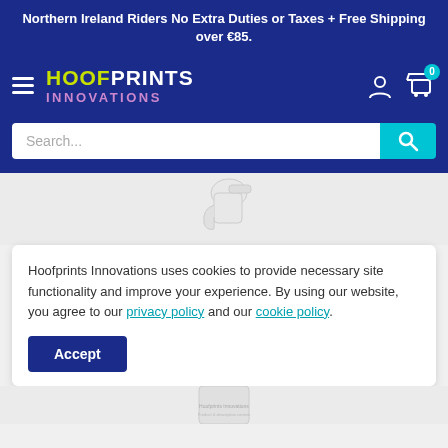Northern Ireland Riders No Extra Duties or Taxes + Free Shipping over €85.
[Figure (logo): Hoofprints Innovations logo with yellow HOOF, white PRINTS text and purple INNOVATIONS text with decorative hoof icon]
[Figure (screenshot): Website navigation bar with hamburger menu, logo, user account icon, and shopping cart with badge showing 0]
[Figure (screenshot): Search bar with placeholder text 'Search...' and teal search button]
[Figure (photo): White spray bottle/trigger sprayer product image on light grey background]
Hoofprints Innovations uses cookies to provide necessary site functionality and improve your experience. By using our website, you agree to our privacy policy and our cookie policy.
Accept